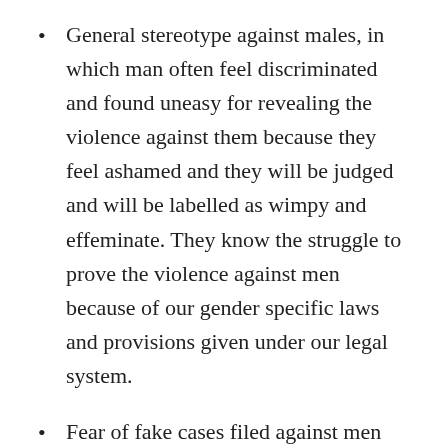General stereotype against males, in which man often feel discriminated and found uneasy for revealing the violence against them because they feel ashamed and they will be judged and will be labelled as wimpy and effeminate. They know the struggle to prove the violence against men because of our gender specific laws and provisions given under our legal system.
Fear of fake cases filed against men they feel that if there is struggle to prove the violence against men then they will also